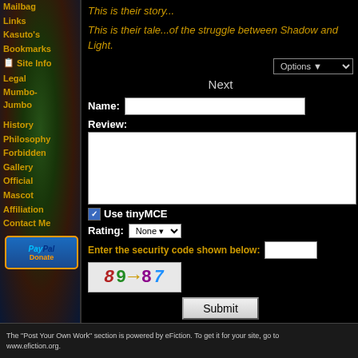Mailbag
Links
Kasuto's Bookmarks
Site Info
Legal Mumbo-Jumbo
History
Philosophy
Forbidden
Gallery
Official Mascot
Affiliation
Contact Me
This is their story...
This is their tale...of the struggle between Shadow and Light.
Next
Name:
Review:
Use tinyMCE
Rating: None
Enter the security code shown below:
89787
Submit
The "Post Your Own Work" section is powered by eFiction. To get it for your site, go to www.efiction.org.